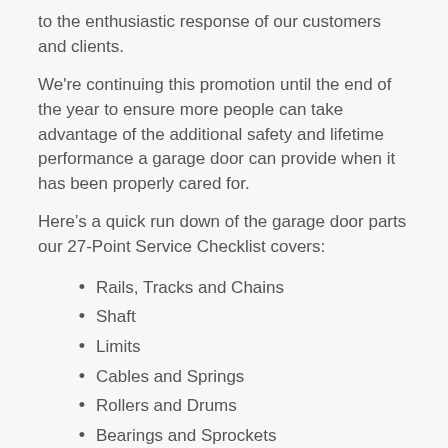to the enthusiastic response of our customers and clients.
We're continuing this promotion until the end of the year to ensure more people can take advantage of the additional safety and lifetime performance a garage door can provide when it has been properly cared for.
Here’s a quick run down of the garage door parts our 27-Point Service Checklist covers:
Rails, Tracks and Chains
Shaft
Limits
Cables and Springs
Rollers and Drums
Bearings and Sprockets
Sensitivity and Photo Cells
Head Plates